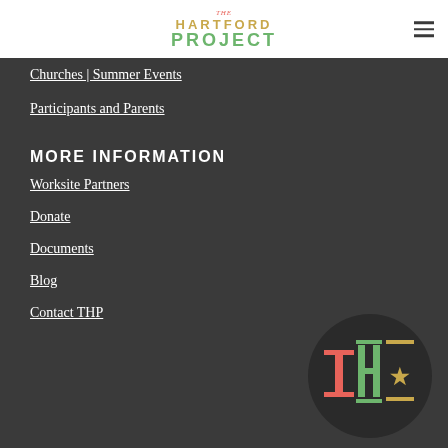THE HARTFORD PROJECT
Churches | Summer Events
Participants and Parents
MORE INFORMATION
Worksite Partners
Donate
Documents
Blog
Contact THP
[Figure (logo): THP circular logo with T H P letters in red, green, and yellow on dark background]